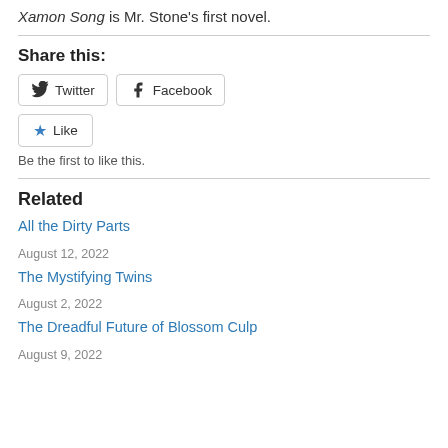Xamon Song is Mr. Stone's first novel.
Share this:
Twitter  Facebook
Like
Be the first to like this.
Related
All the Dirty Parts
August 12, 2022
The Mystifying Twins
August 2, 2022
The Dreadful Future of Blossom Culp
August 9, 2022